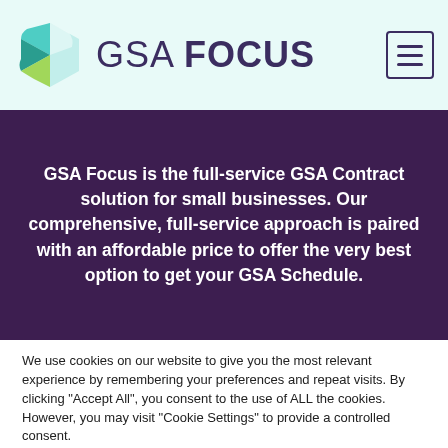[Figure (logo): GSA Focus logo with hexagonal icon and text 'GSA FOCUS' in dark purple, on a light teal/mint background header bar]
GSA Focus is the full-service GSA Contract solution for small businesses. Our comprehensive, full-service approach is paired with an affordable price to offer the very best option to get your GSA Schedule.
We use cookies on our website to give you the most relevant experience by remembering your preferences and repeat visits. By clicking "Accept All", you consent to the use of ALL the cookies. However, you may visit "Cookie Settings" to provide a controlled consent.